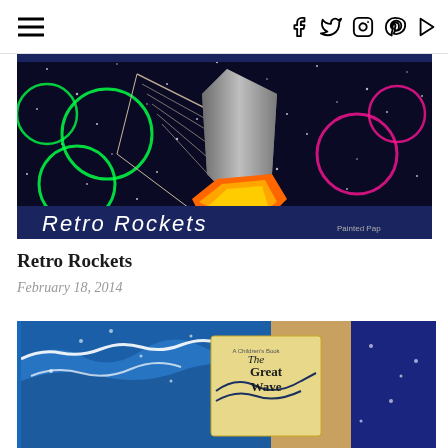Navigation and social icons header
[Figure (photo): Retro Rockets art project image — colorful collage on dark background with green circles, orange rocket flame shapes, and 'Retro Rockets' text at bottom. 'Painted Paper' watermark visible.]
Retro Rockets
February 18, 2014
[Figure (photo): The Great Wave art project image — blue wave painting with a 'The Great Wave: A Children's Book' book displayed in the center.]